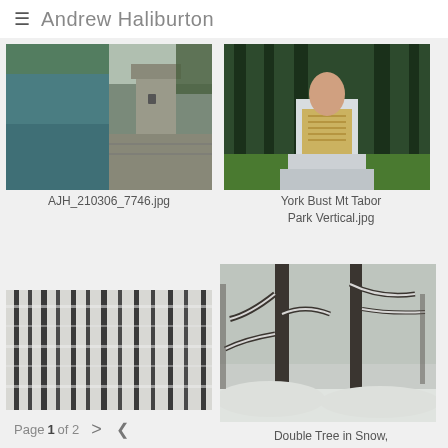Andrew Haliburton
[Figure (photo): Photo of a stone dam/tower structure next to a blue-green reservoir, with trees in the background. Composite of two images. Labeled AJH_210306_7746.jpg]
AJH_210306_7746.jpg
[Figure (photo): Photo of a white stone monument or bust pedestal with a bronze plaque, set against tall dark green trees and green grass. Labeled York Bust Mt Tabor Park Vertical.jpg]
York Bust Mt Tabor Park Vertical.jpg
[Figure (photo): Photo of snow-covered bare trees in a forest, with black and white tones. Labeled (bottom row left)]
[Figure (photo): Photo of two large snow-covered trees in Mt Tabor Park, with snow on branches and ground. Labeled Double Tree in Snow, Mt Tabor Park.jpg]
Double Tree in Snow, Mt Tabor Park.jpg
Page 1 of 2